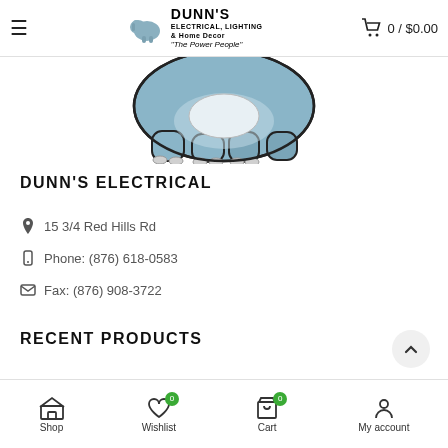≡   DUNN'S ELECTRICAL, LIGHTING & Home Decor "The Power People"   🛒 0 / $0.00
[Figure (logo): Dunn's Electrical mascot: a blue cartoon elephant, shown cropped from mid-body down, facing left.]
DUNN'S ELECTRICAL
📍 15 3/4 Red Hills Rd
📱 Phone: (876) 618-0583
✉ Fax: (876) 908-3722
RECENT PRODUCTS
[Figure (other): Partially visible product thumbnail at bottom left.]
Shop   Wishlist 0   Cart 0   My account